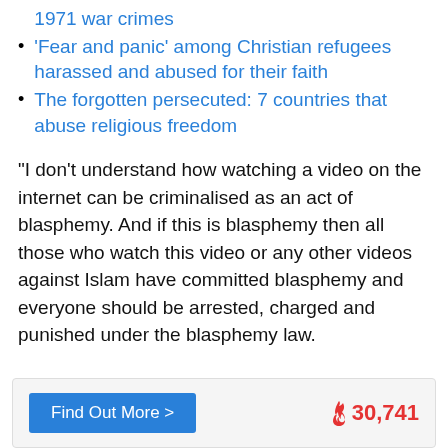1971 war crimes
'Fear and panic' among Christian refugees harassed and abused for their faith
The forgotten persecuted: 7 countries that abuse religious freedom
"I don't understand how watching a video on the internet can be criminalised as an act of blasphemy. And if this is blasphemy then all those who watch this video or any other videos against Islam have committed blasphemy and everyone should be arrested, charged and punished under the blasphemy law.
Find Out More >  🔥30,741